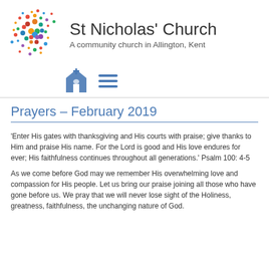[Figure (logo): St Nicholas' Church logo — colorful dots arranged in a cross/flower pattern]
St Nicholas' Church
A community church in Allington, Kent
[Figure (other): Navigation icons: church building icon and hamburger menu icon]
Prayers – February 2019
'Enter His gates with thanksgiving and His courts with praise; give thanks to Him and praise His name. For the Lord is good and His love endures for ever; His faithfulness continues throughout all generations.' Psalm 100: 4-5
As we come before God may we remember His overwhelming love and compassion for His people. Let us bring our praise joining all those who have gone before us. We pray that we will never lose sight of the Holiness, greatness, faithfulness, the unchanging nature of God.